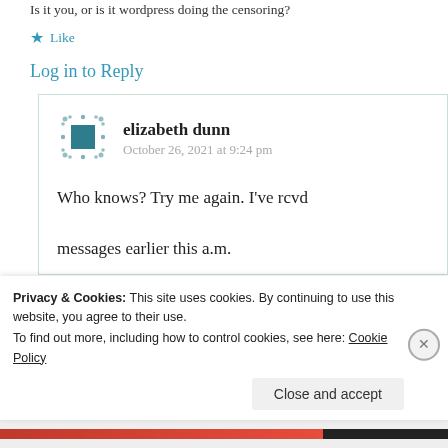Is it you, or is it wordpress doing the censoring?
★ Like
Log in to Reply
elizabeth dunn
October 26, 2021 at 9:24 pm
Who knows? Try me again. I've rcvd messages earlier this a.m.
Privacy & Cookies: This site uses cookies. By continuing to use this website, you agree to their use.
To find out more, including how to control cookies, see here: Cookie Policy
Close and accept